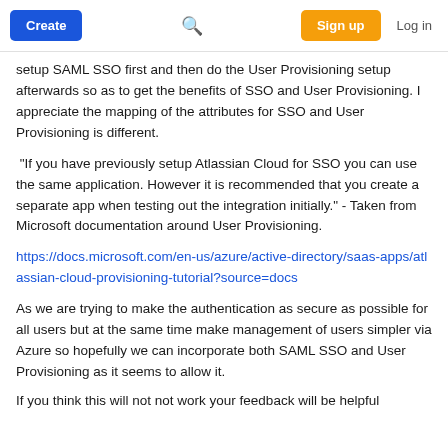Create | Sign up | Log in
setup SAML SSO first and then do the User Provisioning setup afterwards so as to get the benefits of SSO and User Provisioning. I appreciate the mapping of the attributes for SSO and User Provisioning is different.
"If you have previously setup Atlassian Cloud for SSO you can use the same application. However it is recommended that you create a separate app when testing out the integration initially." - Taken from Microsoft documentation around User Provisioning.
https://docs.microsoft.com/en-us/azure/active-directory/saas-apps/atlassian-cloud-provisioning-tutorial?source=docs
As we are trying to make the authentication as secure as possible for all users but at the same time make management of users simpler via Azure so hopefully we can incorporate both SAML SSO and User Provisioning as it seems to allow it.
If you think this will not not work your feedback will be helpful